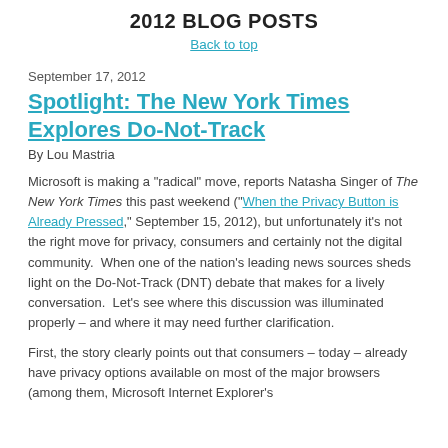2012 BLOG POSTS
Back to top
September 17, 2012
Spotlight: The New York Times Explores Do-Not-Track
By Lou Mastria
Microsoft is making a "radical" move, reports Natasha Singer of The New York Times this past weekend ("When the Privacy Button is Already Pressed," September 15, 2012), but unfortunately it's not the right move for privacy, consumers and certainly not the digital community.  When one of the nation's leading news sources sheds light on the Do-Not-Track (DNT) debate that makes for a lively conversation.  Let's see where this discussion was illuminated properly – and where it may need further clarification.
First, the story clearly points out that consumers – today – already have privacy options available on most of the major browsers (among them, Microsoft Internet Explorer's